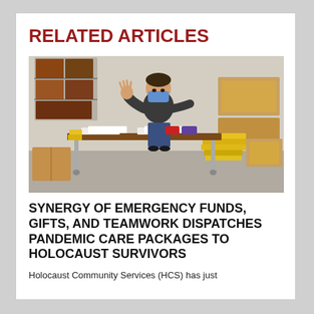RELATED ARTICLES
[Figure (photo): A person wearing a blue face mask sitting at a folding table in a warehouse or storage room, waving at the camera. The table has papers and envelopes on it. Yellow padded envelopes and cardboard boxes are visible around the room.]
SYNERGY OF EMERGENCY FUNDS, GIFTS, AND TEAMWORK DISPATCHES PANDEMIC CARE PACKAGES TO HOLOCAUST SURVIVORS
Holocaust Community Services (HCS) has just